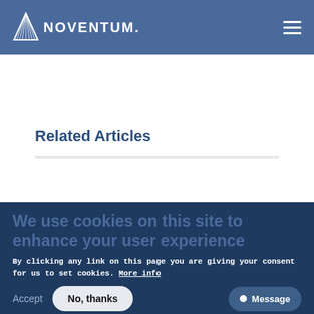NOVENTUM.
Related Articles
We use cookies on this site to enhance your user experience
By clicking any link on this page you are giving your consent for us to set cookies. More info
Accept  No, thanks  Message